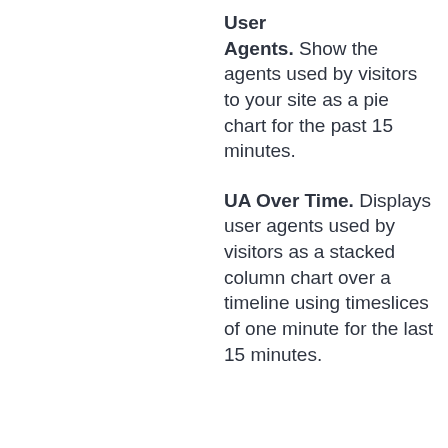User Agents. Show the agents used by visitors to your site as a pie chart for the past 15 minutes.
UA Over Time. Displays user agents used by visitors as a stacked column chart over a timeline using timeslices of one minute for the last 15 minutes.